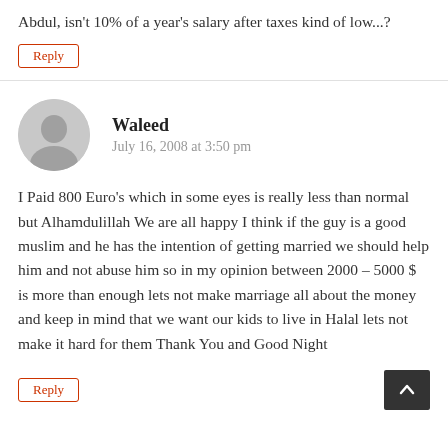Abdul, isn't 10% of a year's salary after taxes kind of low...?
Reply
Waleed
July 16, 2008 at 3:50 pm
I Paid 800 Euro's which in some eyes is really less than normal but Alhamdulillah We are all happy I think if the guy is a good muslim and he has the intention of getting married we should help him and not abuse him so in my opinion between 2000 – 5000 $ is more than enough lets not make marriage all about the money and keep in mind that we want our kids to live in Halal lets not make it hard for them Thank You and Good Night
Reply